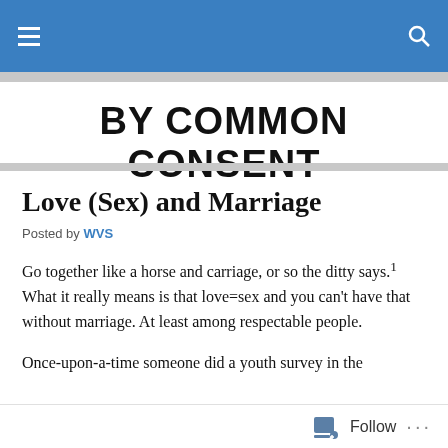BY COMMON CONSENT
Love (Sex) and Marriage
Posted by WVS
Go together like a horse and carriage, or so the ditty says.¹ What it really means is that love=sex and you can't have that without marriage. At least among respectable people.
Once-upon-a-time someone did a youth survey in the
Follow ...